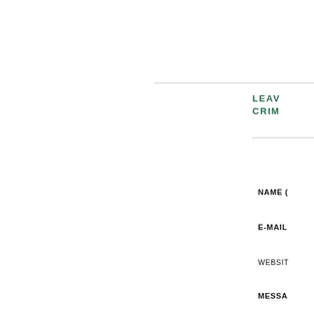LEAV
CRIM
NAME (
E-MAIL
WEBSIT
MESSA